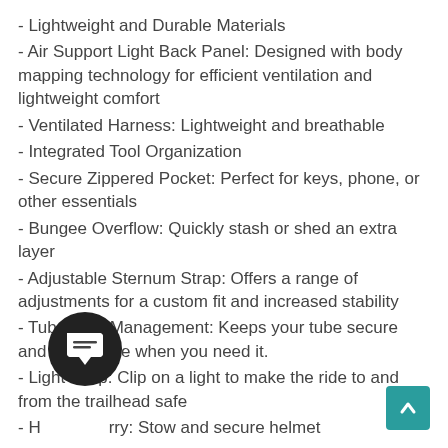- Lightweight and Durable Materials
- Air Support Light Back Panel: Designed with body mapping technology for efficient ventilation and lightweight comfort
- Ventilated Harness: Lightweight and breathable
- Integrated Tool Organization
- Secure Zippered Pocket: Perfect for keys, phone, or other essentials
- Bungee Overflow: Quickly stash or shed an extra layer
- Adjustable Sternum Strap: Offers a range of adjustments for a custom fit and increased stability
- Tube Trap Management: Keeps your tube secure and accessible when you need it.
- Light Loop: Clip on a light to make the ride to and from the trailhead safe
- H[obscured]rry: Stow and secure helmet
- R[obscured]y: For low-light safety